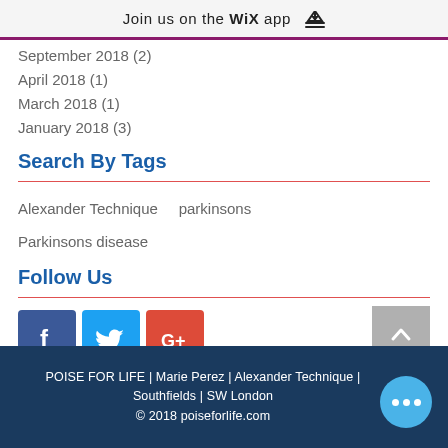Join us on the WiX app
September 2018 (2)
April 2018 (1)
March 2018 (1)
January 2018 (3)
Search By Tags
Alexander Technique   parkinsons
Parkinsons disease
Follow Us
[Figure (infographic): Row of social media icons: Facebook (blue), Twitter (light blue), Google+ (red), and a grey back-to-top chevron button]
POISE FOR LIFE | Marie Perez | Alexander Technique | Southfields | SW London
© 2018 poiseforlife.com